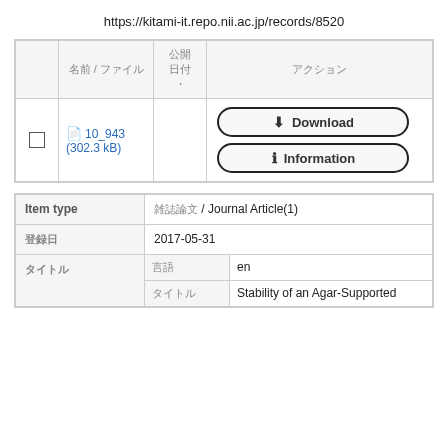https://kitami-it.repo.nii.ac.jp/records/8520
|  | 名前 / ファイル | 公開日付・ | アクション |
| --- | --- | --- | --- |
| ☐ | 10_943 (302.3 kB) |  | Download | Information |
| Label | Value |
| --- | --- |
| Item type | 雑誌論文 / Journal Article(1) |
| 登録日 | 2017-05-31 |
| タイトル / 言語 | en |
| タイトル / タイトル | Stability of an Agar-Supported |